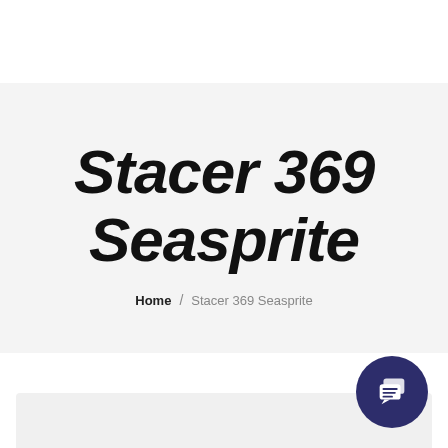Stacer 369 Seasprite
Home / Stacer 369 Seasprite
[Figure (screenshot): Dark navy circular chat/message button icon in the bottom right corner]